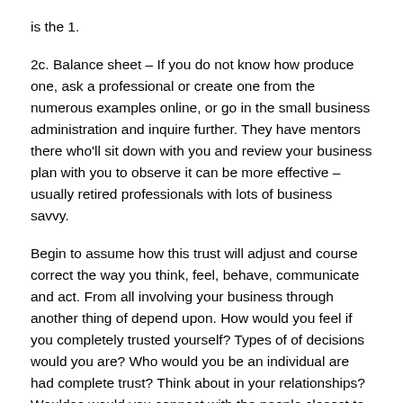is the 1.
2c. Balance sheet – If you do not know how produce one, ask a professional or create one from the numerous examples online, or go in the small business administration and inquire further. They have mentors there who'll sit down with you and review your business plan with you to observe it can be more effective – usually retired professionals with lots of business savvy.
Begin to assume how this trust will adjust and course correct the way you think, feel, behave, communicate and act. From all involving your business through another thing of depend upon. How would you feel if you completely trusted yourself? Types of of decisions would you are? Who would you be an individual are had complete trust? Think about in your relationships? Wouldso would you connect with the people closest to you? Who would you approach perform with, partner or collaborate if you possessed more confide?